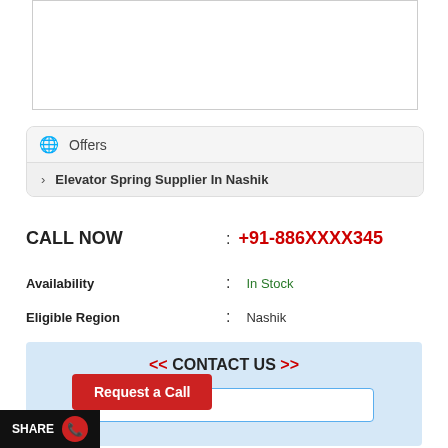[Figure (other): White image placeholder box with thin gray border]
Offers
Elevator Spring Supplier In Nashik
CALL NOW : +91-886XXXX345
Availability : In Stock
Eligible Region : Nashik
<< CONTACT US >>
Your Name
Request a Call
SHARE